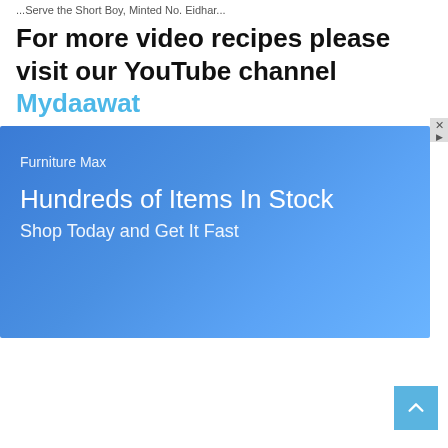...Serve the Short Boy, Minted No. Eidhar...
For more video recipes please visit our YouTube channel Mydaawat
[Figure (infographic): Blue advertisement banner for Furniture Max with text: Furniture Max, Hundreds of Items In Stock, Shop Today and Get It Fast. Has an X close button in top right corner.]